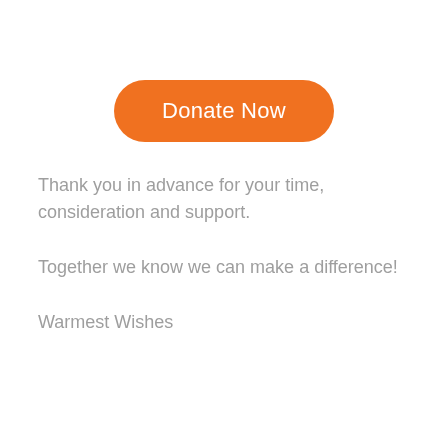[Figure (other): Orange rounded button labeled 'Donate Now']
Thank you in advance for your time, consideration and support.
Together we know we can make a difference!
Warmest Wishes